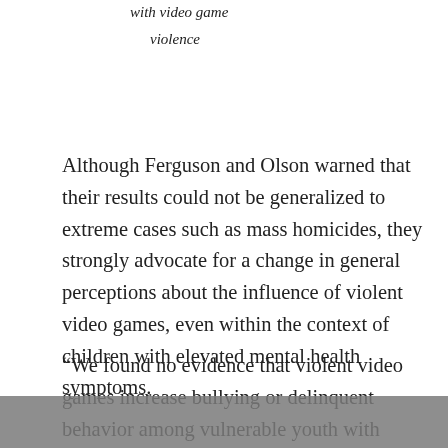with video game

violence
Although Ferguson and Olson warned that their results could not be generalized to extreme cases such as mass homicides, they strongly advocate for a change in general perceptions about the influence of violent video games, even within the context of children with elevated mental health symptoms.
“We found no evidence that violent video games increase bullying or delinquent behavior among vulnerable youth with